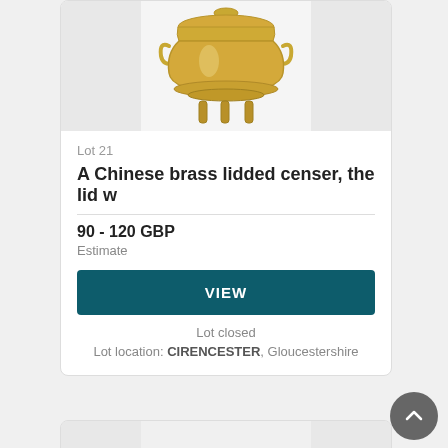[Figure (photo): Photo of a Chinese brass lidded censer artifact, golden/brass colored, with handles and legs, on a white background]
Lot 21
A Chinese brass lidded censer, the lid w
90 - 120 GBP
Estimate
VIEW
Lot closed
Lot location: CIRENCESTER, Gloucestershire
[Figure (photo): Partial photo of another brass/bronze Chinese artifact, partially visible at the bottom of the page]